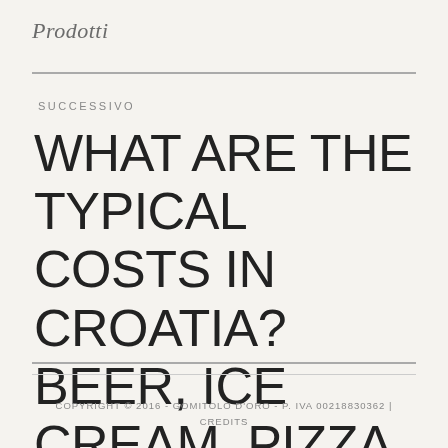Prodotti
SUCCESSIVO
WHAT ARE THE TYPICAL COSTS IN CROATIA? BEER, ICE CREAM, PIZZA
COPYRIGHT © 2016 - GOMITOLO D'ORO - P. IVA 00218830362 | CREDITS